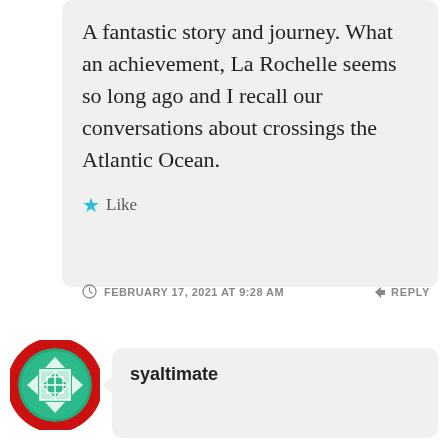A fantastic story and journey. What an achievement, La Rochelle seems so long ago and I recall our conversations about crossings the Atlantic Ocean.
Like
FEBRUARY 17, 2021 AT 9:28 AM
REPLY
syaltimate